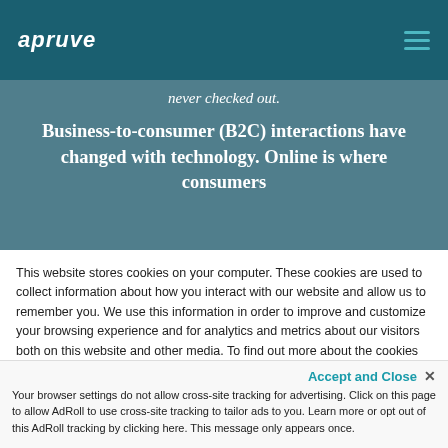apruve
never checked out.
Business-to-consumer (B2C) interactions have changed with technology. Online is where consumers
This website stores cookies on your computer. These cookies are used to collect information about how you interact with our website and allow us to remember you. We use this information in order to improve and customize your browsing experience and for analytics and metrics about our visitors both on this website and other media. To find out more about the cookies we use, see our Privacy Policy.
If you decline, your information won't be tracked when you visit this website. A single cookie will be used in your browser to remember your preference not to be tracked.
Accept and Close ✕
Your browser settings do not allow cross-site tracking for advertising. Click on this page to allow AdRoll to use cross-site tracking to tailor ads to you. Learn more or opt out of this AdRoll tracking by clicking here. This message only appears once.